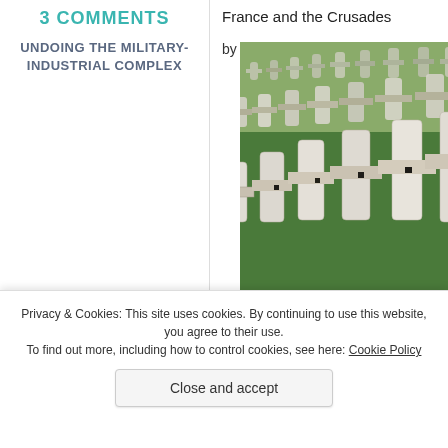3 COMMENTS
UNDOING THE MILITARY-INDUSTRIAL COMPLEX
France and the Crusades
by Mike Murburg
[Figure (photo): Photograph of a military cemetery with rows of stone crosses on green grass, photographed at an angle showing many graves receding into the distance.]
Privacy & Cookies: This site uses cookies. By continuing to use this website, you agree to their use.
To find out more, including how to control cookies, see here: Cookie Policy
Close and accept